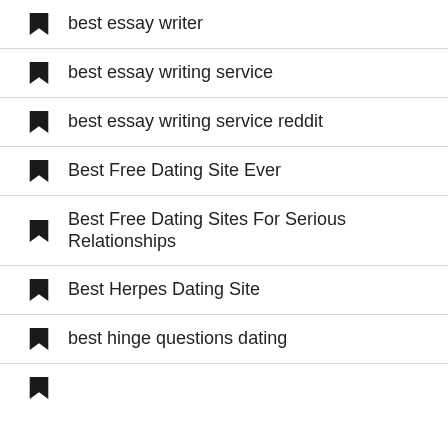best essay writer
best essay writing service
best essay writing service reddit
Best Free Dating Site Ever
Best Free Dating Sites For Serious Relationships
Best Herpes Dating Site
best hinge questions dating